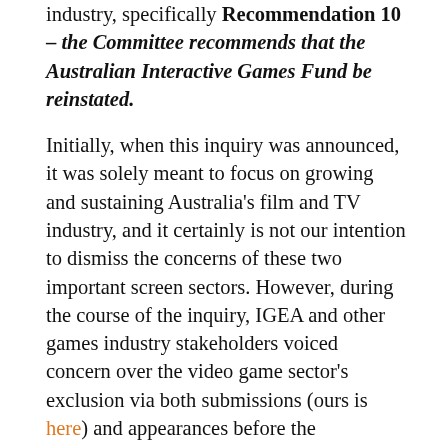industry, specifically Recommendation 10 – the Committee recommends that the Australian Interactive Games Fund be reinstated.
Initially, when this inquiry was announced, it was solely meant to focus on growing and sustaining Australia's film and TV industry, and it certainly is not our intention to dismiss the concerns of these two important screen sectors. However, during the course of the inquiry, IGEA and other games industry stakeholders voiced concern over the video game sector's exclusion via both submissions (ours is here) and appearances before the committee, highlighting that the Australian games development sector was not receiving any support at all from the Federal Government.
Given the contribution video games development can make to the Australian economy, industry and the community in general, support for this sector from the Federal Government should be